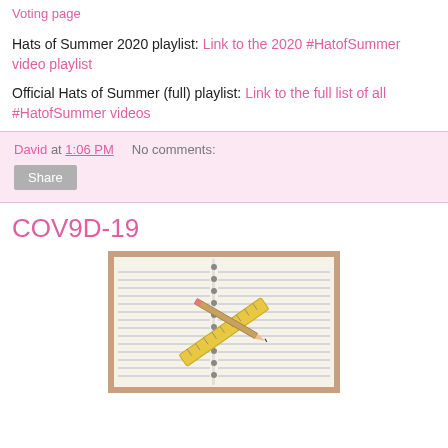Voting page
Hats of Summer 2020 playlist: Link to the 2020 #HatofSummer video playlist
Official Hats of Summer (full) playlist: Link to the full list of all #HatofSummer videos
David at 1:06 PM    No comments:
Share
COV9D-19
[Figure (photo): Photo of an open spiral notebook with a yellow ruler and a pencil crossing each other diagonally on the lined pages]